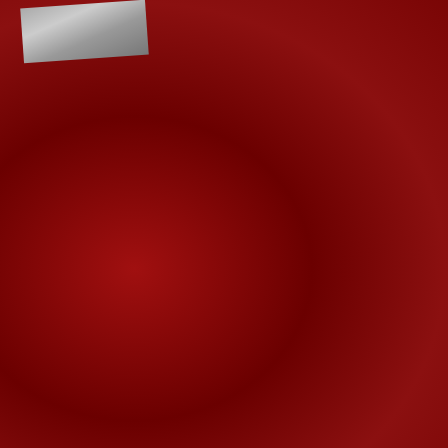guitar groups and as a soloist. At age 8, I also took up piano lessons, while my guitar lessons became more focussed on classical guitar. At age 12, I joined Maidstone Youth Music Society (MYMS) where I learned to play orchestral percussion.
[Figure (photo): Photo of what appears to be a CD or album cover on a red carpet/rug surface]
During secondary school, I joined a club called 'Acorn Band' where I played keyboard. I also performed a short piano piece in year 7 as part of an inter-house music contest in front of the whole school. In year 8 I took up electric guitar and my liking for rock music grew dramatically. Although it was not until around year 9 that I started intense practice. This was largely due to my introduction to virtuoso guitar players such as Steve Vai and Yngwie Malmsteen, who would often take inspiration from classical music to combine with rock and produce complex music.